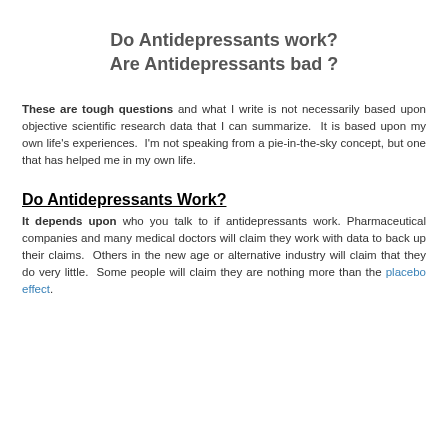Do Antidepressants work?
Are Antidepressants bad ?
These are tough questions and what I write is not necessarily based upon objective scientific research data that I can summarize. It is based upon my own life's experiences. I'm not speaking from a pie-in-the-sky concept, but one that has helped me in my own life.
Do Antidepressants Work?
It depends upon who you talk to if antidepressants work. Pharmaceutical companies and many medical doctors will claim they work with data to back up their claims. Others in the new age or alternative industry will claim that they do very little. Some people will claim they are nothing more than the placebo effect.